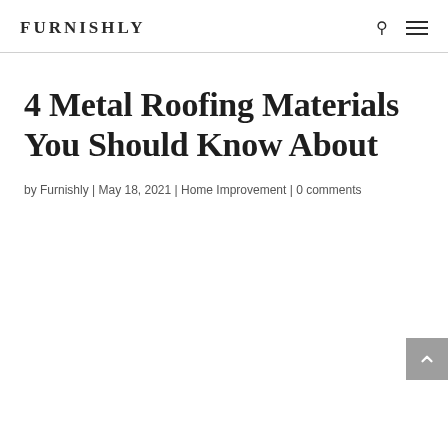FURNISHLY
4 Metal Roofing Materials You Should Know About
by Furnishly | May 18, 2021 | Home Improvement | 0 comments